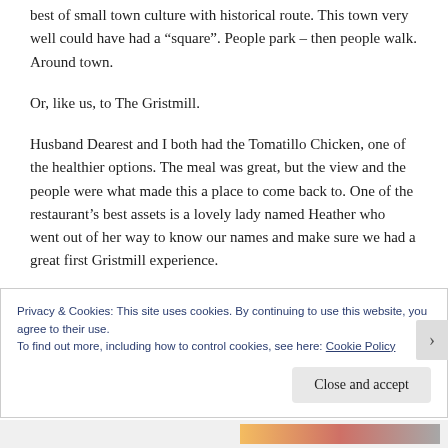best of small town culture with historical route. This town very well could have had a “square”. People park – then people walk. Around town.
Or, like us, to The Gristmill.
Husband Dearest and I both had the Tomatillo Chicken, one of the healthier options. The meal was great, but the view and the people were what made this a place to come back to. One of the restaurant’s best assets is a lovely lady named Heather who went out of her way to know our names and make sure we had a great first Gristmill experience.
Privacy & Cookies: This site uses cookies. By continuing to use this website, you agree to their use.
To find out more, including how to control cookies, see here: Cookie Policy
Close and accept